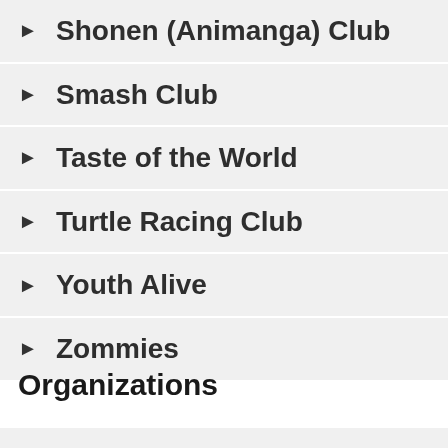Shonen (Animanga) Club
Smash Club
Taste of the World
Turtle Racing Club
Youth Alive
Zommies
Organizations